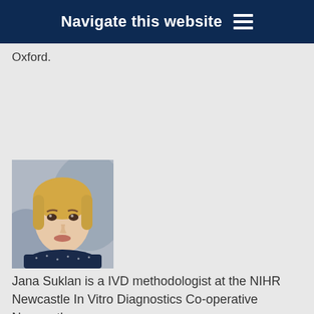Navigate this website
Oxford.
[Figure (photo): Headshot photograph of Jana Suklan, a woman with blonde hair wearing a dark navy dotted blouse, photographed against a blurred light background.]
Jana Suklan is a IVD methodologist at the NIHR Newcastle In Vitro Diagnostics Co-operative Newcastle